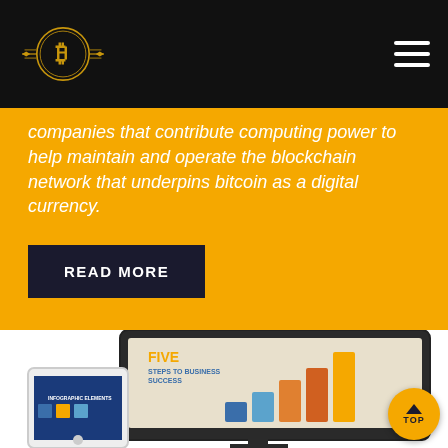Bitcoin logo and navigation header
companies that contribute computing power to help maintain and operate the blockchain network that underpins bitcoin as a digital currency.
READ MORE
[Figure (screenshot): Screenshot of a laptop monitor displaying an infographic titled 'FIVE STEPS TO BUSINESS SUCCESS' with a bar chart showing five ascending bars in blue, orange, and yellow. A tablet showing 'INFOGRAPHIC ELEMENTS' is partially visible in the lower left.]